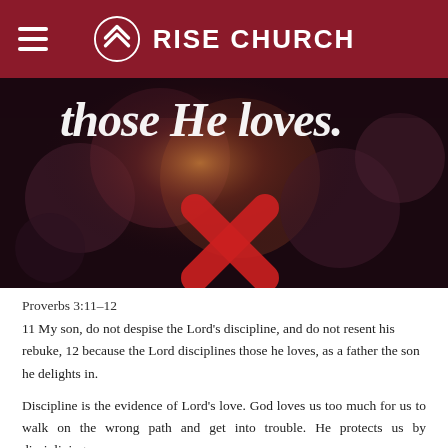RISE CHURCH
[Figure (photo): Dark bokeh background image with blurred lights and a red cross shape, with white cursive/script text reading 'those He loves.' overlaid on the image]
Proverbs 3:11-12
11 My son, do not despise the Lord's discipline, and do not resent his rebuke, 12 because the Lord disciplines those he loves, as a father the son he delights in.
Discipline is the evidence of Lord's love. God loves us too much for us to walk on the wrong path and get into trouble. He protects us by disciplining us.